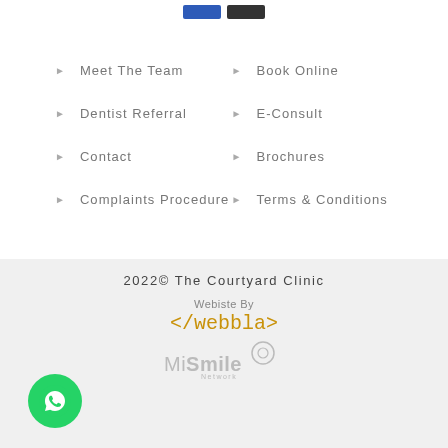[Figure (other): Two small colored buttons at top: one blue, one dark/black]
Meet The Team
Book Online
Dentist Referral
E-Consult
Contact
Brochures
Complaints Procedure
Terms & Conditions
2022© The Courtyard Clinic
Webiste By </webbla>
[Figure (logo): MiSmile Network logo with circular icon]
[Figure (logo): WhatsApp green circular button with phone/chat icon]